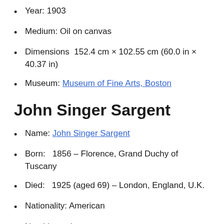Year: 1903
Medium: Oil on canvas
Dimensions: 152.4 cm × 102.55 cm (60.0 in × 40.37 in)
Museum: Museum of Fine Arts, Boston
John Singer Sargent
Name: John Singer Sargent
Born: 1856 – Florence, Grand Duchy of Tuscany
Died: 1925 (aged 69) – London, England, U.K.
Nationality: American
Notable works: